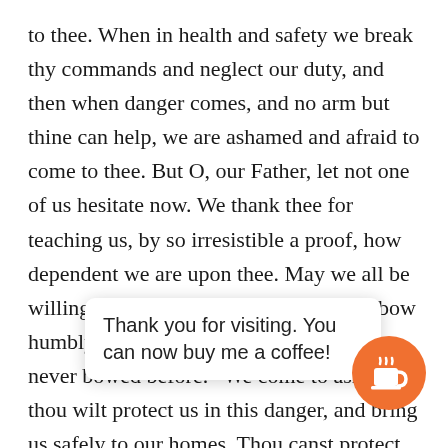to thee. When in health and safety we break thy commands and neglect our duty, and then when danger comes, and no arm but thine can help, we are ashamed and afraid to come to thee. But O, our Father, let not one of us hesitate now. We thank thee for teaching us, by so irresistible a proof, how dependent we are upon thee. May we all be willing to learn the lesson, and may we bow humbly before thee now, even if we have never bowed before. “We come to ask that thou wilt protect us in this danger, and bring us safely to our homes. Thou canst protect from greater dangers than these. Wilt thou pro ave here in the roth d sist ven feel, and from the anguish such tidings of our
Thank you for visiting. You can now buy me a coffee!